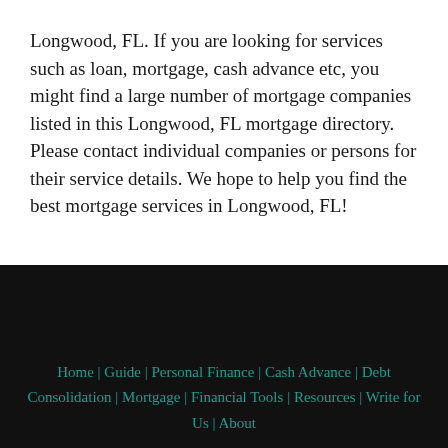Longwood, FL. If you are looking for services such as loan, mortgage, cash advance etc, you might find a large number of mortgage companies listed in this Longwood, FL mortgage directory. Please contact individual companies or persons for their service details. We hope to help you find the best mortgage services in Longwood, FL!
Home | Guide | Personal Finance | Cash Advance | Debt Consolidation | Mortgage | Financial Tools | Resources | Write for Us | About